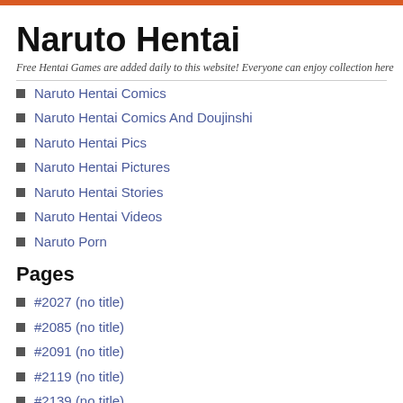Naruto Hentai
Free Hentai Games are added daily to this website! Everyone can enjoy collection here
Naruto Hentai Comics
Naruto Hentai Comics And Doujinshi
Naruto Hentai Pics
Naruto Hentai Pictures
Naruto Hentai Stories
Naruto Hentai Videos
Naruto Porn
Pages
#2027 (no title)
#2085 (no title)
#2091 (no title)
#2119 (no title)
#2139 (no title)
#2185 (no title)
#2225 (no title)
Adventure Time Porn
Avengers Porn
Avengers Porn
Danny Phantom Porn
Danny Phantom Porn
Danny Phantom Porn